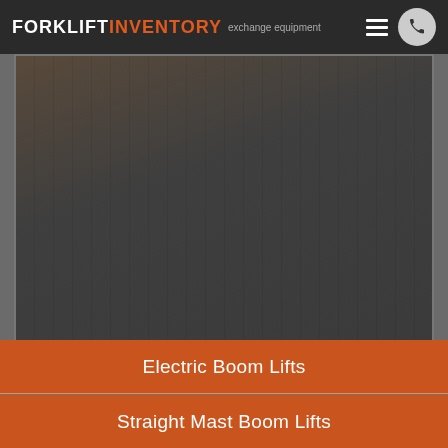FORKLIFT INVENTORY · exchange equipment
[Figure (screenshot): Dark screenshot/video placeholder area showing a partial forklift or industrial equipment image on a dark grey background]
Electric Boom Lifts
Straight Mast Boom Lifts
Articulating Boom Lifts (partial)